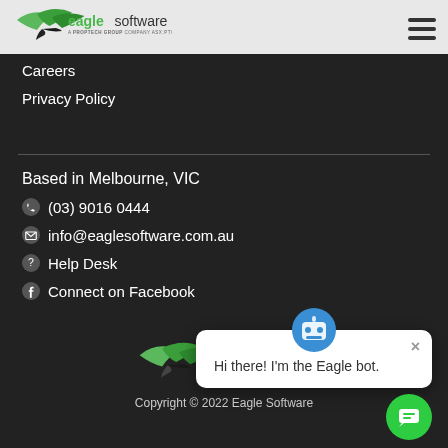[Figure (logo): Eagle Software logo - A Proptech Group Company ASX:PTG, with green bird/leaf graphic]
Careers
Privacy Policy
Based in Melbourne, VIC
(03) 9016 0444
info@eaglesoftware.com.au
Help Desk
Connect on Facebook
[Figure (logo): Eagle Software logo bottom - A Proptech Group Company ASX:PTG]
Copyright © 2022 Eagle Software
Hi there! I'm the Eagle bot.